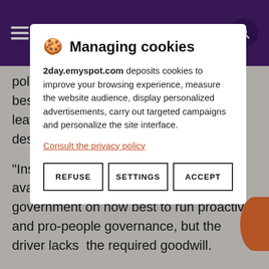People
policies, programmes and projects are best described as anti-people which leave our people in pain and despondency".
"Instead of criticizing , I made myself available to guide the incumbent government on how best to run proactive and pro-people governance, but the driver lacks  the required goodwill.
Today the major sectors of  our economy, which are education h... b...
"V... e... a... vi... ac... p... ri...
[Figure (screenshot): Cookie consent modal dialog with title 'Managing cookies', description of 2day.emyspot.com cookie usage, privacy policy link, and three buttons: REFUSE, SETTINGS, ACCEPT]